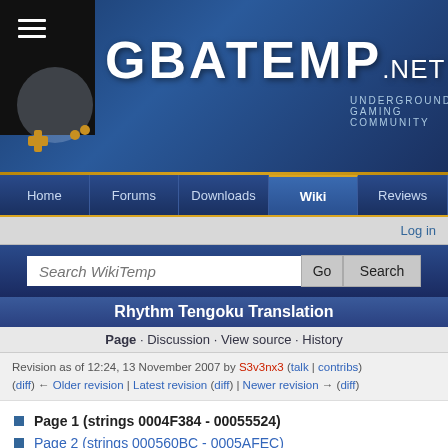[Figure (screenshot): GBAtemp.net website header banner with logo, navigation bar showing Home, Forums, Downloads, Wiki (active), Reviews, login bar, search bar, and page content for Rhythm Tengoku Translation wiki page.]
GBATEMP.NET - UNDERGROUND GAMING COMMUNITY
Rhythm Tengoku Translation
Page · Discussion · View source · History
Revision as of 12:24, 13 November 2007 by S3v3nx3 (talk | contribs)
(diff) ← Older revision | Latest revision (diff) | Newer revision → (diff)
Page 1 (strings 0004F384 - 00055524)
Page 2 (strings 000560BC - 0005AFEC)
Page 3 (strings 0005B010 - 0005EFF4)
Page 4 (strings 0005F014 - 0006AA8C)
Some browsers/PCs may have issues displaying or saving the entire page when editing.
ENSURE THAT YOUR BROWSER DISPLAYS AND SAVES THE WHOLE PAGE IN ITS ENTIRETY IF ATTEMPTING TO MODIFY THIS ARTICLE.